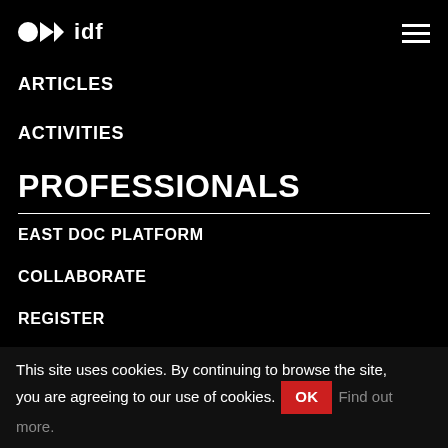idf
ARTICLES
ACTIVITIES
PROFESSIONALS
EAST DOC PLATFORM
COLLABORATE
REGISTER
This site uses cookies. By continuing to browse the site, you are agreeing to our use of cookies. OK Find out more.